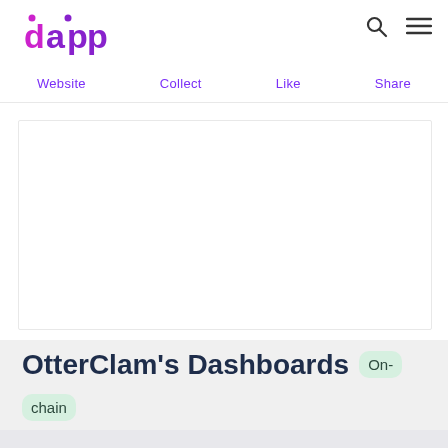dapp
Website  Collect  Like  Share
[Figure (other): Blank white rectangular image placeholder area]
OtterClam's Dashboards  On-chain